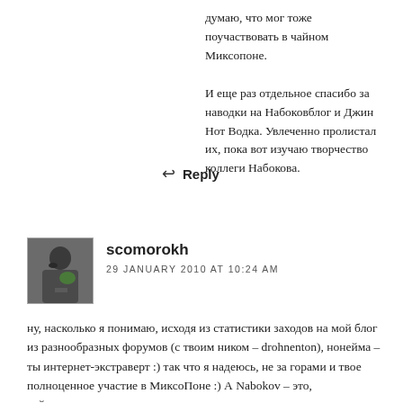думаю, что мог тоже поучаствовать в чайном Миксопоне.
И еще раз отдельное спасибо за наводки на Набоковблог и Джин Нот Водка. Увлеченно пролистал их, пока вот изучаю творчество коллеги Набокова.
↩ Reply
[Figure (photo): Avatar photo of user scomorokh - person holding something green]
scomorokh
29 JANUARY 2010 AT 10:24 AM
ну, насколько я понимаю, исходя из статистики заходов на мой блог из разнообразных форумов (с твоим ником – drohnenton), нонейма – ты интернет-экстраверт :) так что я надеюсь, не за горами и твое полноценное участие в МиксоПоне :) А Nabokov – это, действительно,